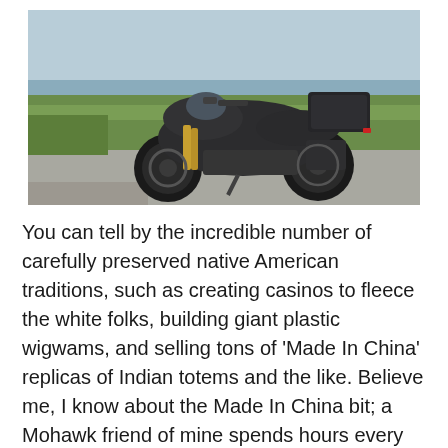[Figure (photo): A dark/black adventure motorcycle parked on a road beside a grassy area, with a body of water and blue sky visible in the background. The bike has a top case (luggage box) mounted on the rear and gold-colored front forks.]
You can tell by the incredible number of carefully preserved native American traditions, such as creating casinos to fleece the white folks, building giant plastic wigwams, and selling tons of 'Made In China' replicas of Indian totems and the like. Believe me, I know about the Made In China bit; a Mohawk friend of mine spends hours every month taking the MIC labels off her latest shipment of "genuine"